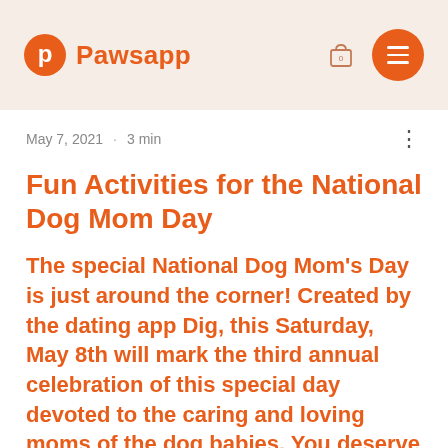Pawsapp
May 7, 2021  ·  3 min
Fun Activities for the National Dog Mom Day
The special National Dog Mom's Day is just around the corner! Created by the dating app Dig, this Saturday, May 8th will mark the third annual celebration of this special day devoted to the caring and loving moms of the dog babies. You deserve to